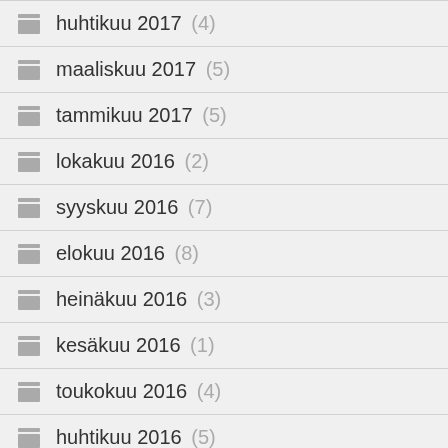huhtikuu 2017 (4)
maaliskuu 2017 (5)
tammikuu 2017 (5)
lokakuu 2016 (2)
syyskuu 2016 (7)
elokuu 2016 (8)
heinäkuu 2016 (3)
kesäkuu 2016 (1)
toukokuu 2016 (4)
huhtikuu 2016 (5)